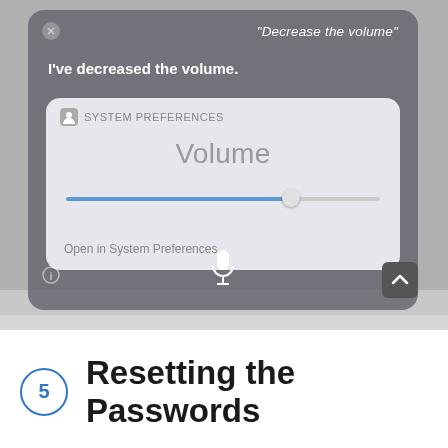[Figure (screenshot): macOS Siri interface showing volume control. Speech input 'Decrease the volume' with Siri response 'I've decreased the volume.' and a System Preferences volume slider card. A microphone icon is at the bottom center of the Siri panel.]
5 Resetting the Passwords